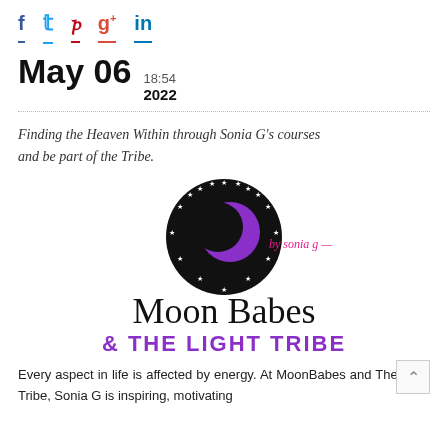Social share icons: f (Facebook), Twitter, Pinterest, g+, in (LinkedIn)
May 06  18:54  2022
Finding the Heaven Within through Sonia G's courses and be part of the Tribe.
[Figure (logo): Moon Babes & The Light Tribe logo by Sonia G — black circle with stars and purple crescent moon, with cursive 'by sonia g' text, large 'Moon Babes' serif text, and '& THE LIGHT TRIBE' in purple uppercase letters]
Every aspect in life is affected by energy. At MoonBabes and The Light Tribe, Sonia G is inspiring, motivating